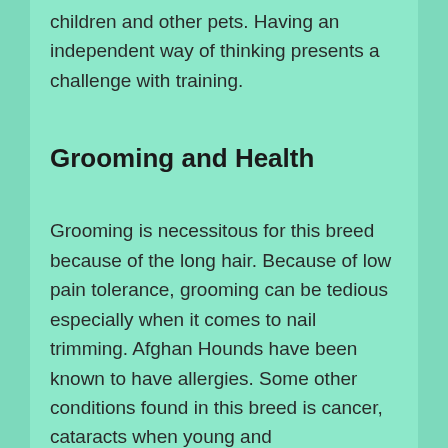children and other pets. Having an independent way of thinking presents a challenge with training.
Grooming and Health
Grooming is necessitous for this breed because of the long hair. Because of low pain tolerance, grooming can be tedious especially when it comes to nail trimming. Afghan Hounds have been known to have allergies. Some other conditions found in this breed is cancer, cataracts when young and hypothyroidism.